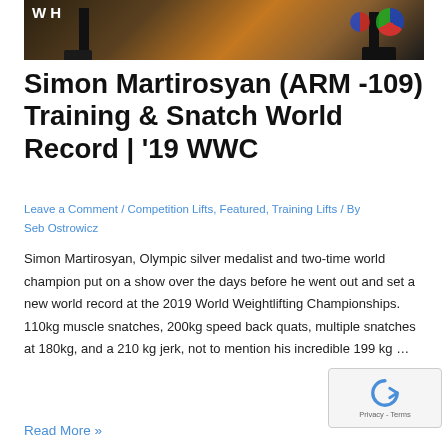[Figure (photo): Weightlifters at competition with barbell on platform, dark background with decorative elements, WH logo visible top left]
Simon Martirosyan (ARM -109) Training & Snatch World Record | '19 WWC
Leave a Comment / Competition Lifts, Featured, Training Lifts / By Seb Ostrowicz
Simon Martirosyan, Olympic silver medalist and two-time world champion put on a show over the days before he went out and set a new world record at the 2019 World Weightlifting Championships. 110kg muscle snatches, 200kg speed back quats, multiple snatches at 180kg, and a 210 kg jerk, not to mention his incredible 199 kg …
Read More »